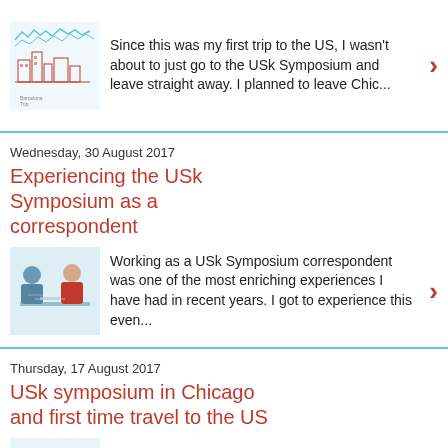[Figure (illustration): Urban sketching illustration with blue and red lines, showing a cityscape sketch]
Since this was my first trip to the US, I wasn't about to just go to the USk Symposium and leave straight away. I planned to leave Chic...
Wednesday, 30 August 2017
Experiencing the USk Symposium as a correspondent
[Figure (illustration): Sketch of two people sketching at a table, one in a red shirt]
Working as a USk Symposium correspondent was one of the most enriching experiences I have had in recent years. I got to experience this even...
Thursday, 17 August 2017
USk symposium in Chicago and first time travel to the US
[Figure (illustration): Sketch with blue and red tones showing Chicago cityscape]
This year I was selected to be one of three correspondents to cover the Urban Sketchers symposium taking place in Chicago. It was an